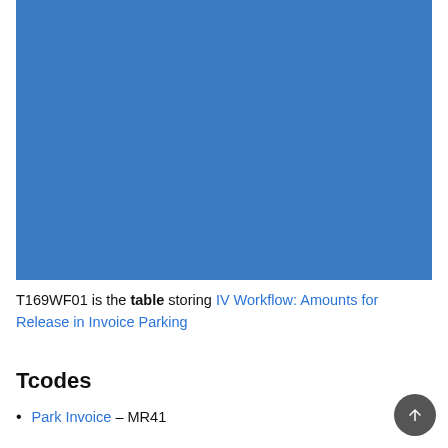[Figure (other): Blue rectangular screenshot placeholder area]
T169WF01 is the table storing IV Workflow: Amounts for Release in Invoice Parking
Tcodes
Park Invoice – MR41